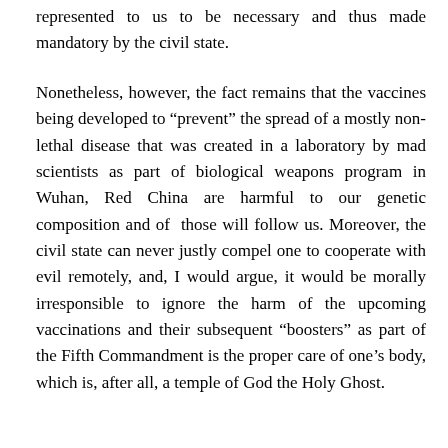represented to us to be necessary and thus made mandatory by the civil state.
Nonetheless, however, the fact remains that the vaccines being developed to “prevent” the spread of a mostly non-lethal disease that was created in a laboratory by mad scientists as part of biological weapons program in Wuhan, Red China are harmful to our genetic composition and of those will follow us. Moreover, the civil state can never justly compel one to cooperate with evil remotely, and, I would argue, it would be morally irresponsible to ignore the harm of the upcoming vaccinations and their subsequent “boosters” as part of the Fifth Commandment is the proper care of one’s body, which is, after all, a temple of God the Holy Ghost.